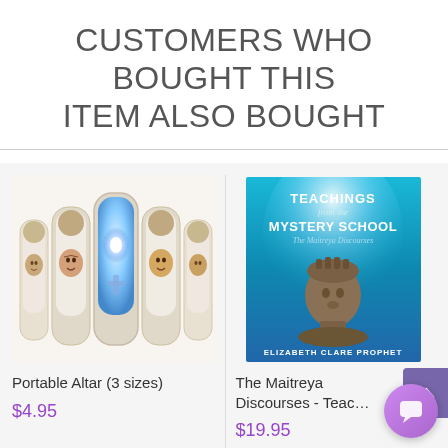CUSTOMERS WHO BOUGHT THIS ITEM ALSO BOUGHT
[Figure (illustration): Portable Altar product image showing gothic arch-style altar with portraits of religious figures and a central glowing light]
Portable Altar (3 sizes)
$4.95
[Figure (illustration): Book cover for 'Teachings from the Mystery School - The Maitreya Discourses' by Elizabeth Clare Prophet, featuring a bronze statue bust on a blue background]
The Maitreya Discourses - Teac
$19.95